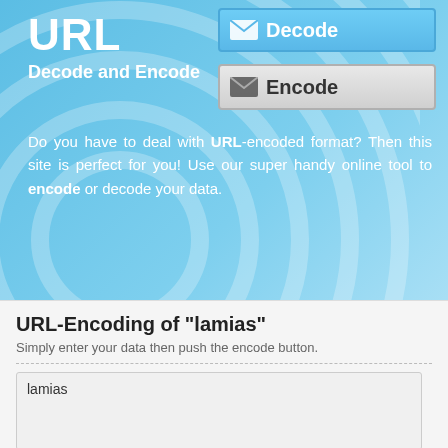URL
Decode and Encode
[Figure (screenshot): Decode button with envelope icon, blue background]
[Figure (screenshot): Encode button with envelope icon, gray/silver background]
Do you have to deal with URL-encoded format? Then this site is perfect for you! Use our super handy online tool to encode or decode your data.
URL-Encoding of "lamias"
Simply enter your data then push the encode button.
lamias